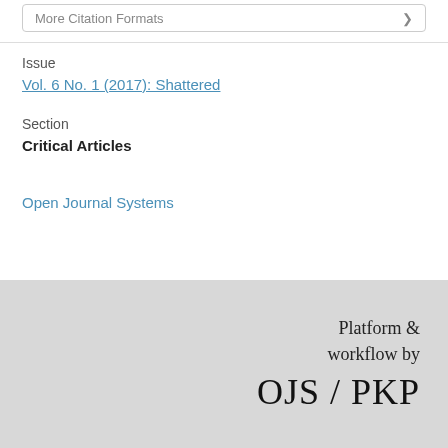More Citation Formats
Issue
Vol. 6 No. 1 (2017): Shattered
Section
Critical Articles
Open Journal Systems
Platform & workflow by OJS / PKP